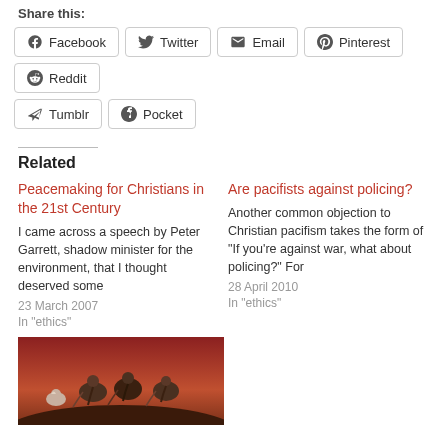Share this:
Facebook
Twitter
Email
Pinterest
Reddit
Tumblr
Pocket
Related
Peacemaking for Christians in the 21st Century
I came across a speech by Peter Garrett, shadow minister for the environment, that I thought deserved some
23 March 2007
In "ethics"
Are pacifists against policing?
Another common objection to Christian pacifism takes the form of “If you’re against war, what about policing?” For
28 April 2010
In "ethics"
[Figure (illustration): Painting of birds (doves/vultures) perched together, reddish-brown background]